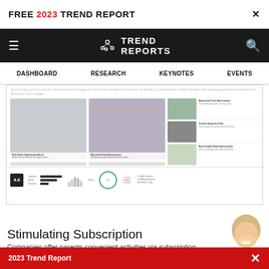FREE 2023 TREND REPORT
[Figure (screenshot): Trend Reports website navigation bar with hamburger menu, logo 'TREND REPORTS', and search icon on dark background. Below: menu bar with DASHBOARD, RESEARCH, KEYNOTES, EVENTS. Main content shows a product subscription page with images of activity kits, art supplies, and hobby boxes, plus a ratings/stats bar at the bottom.]
Stimulating Subscription
Companies offer parents convenient activities via subscription services
Ask a Question
2023 Trend Report